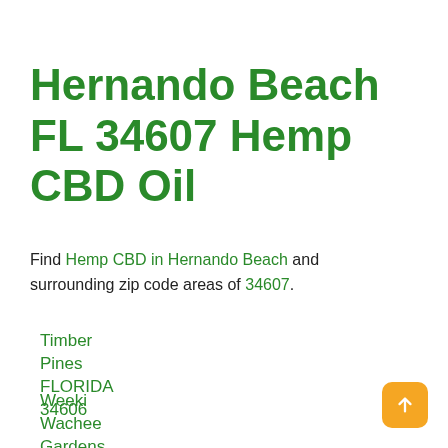Hernando Beach FL 34607 Hemp CBD Oil
Find Hemp CBD in Hernando Beach and surrounding zip code areas of 34607.
Timber Pines FLORIDA 34606
Weeki Wachee Gardens Florida 34607